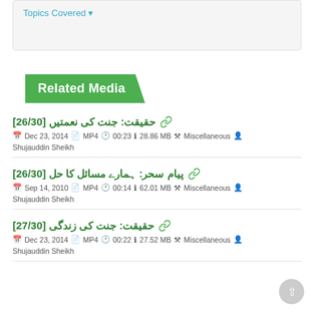Topics Covered ⌄
Related Media
حقیقت: جنت کی نعمتیں [26/30]
Dec 23, 2014  MP4  00:23  28.86 MB  Miscellaneous  Shujauddin Sheikh
پیام سحر: ہمارے مسائل کا حل [26/30]
Sep 14, 2010  MP4  00:14  62.01 MB  Miscellaneous  Shujauddin Sheikh
حقیقت: جنت کی زندگی [27/30]
Dec 23, 2014  MP4  00:22  27.52 MB  Miscellaneous  Shujauddin Sheikh